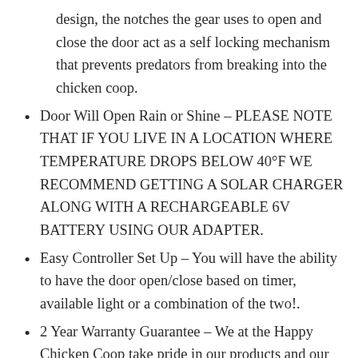design, the notches the gear uses to open and close the door act as a self locking mechanism that prevents predators from breaking into the chicken coop.
Door Will Open Rain or Shine – PLEASE NOTE THAT IF YOU LIVE IN A LOCATION WHERE TEMPERATURE DROPS BELOW 40°F WE RECOMMEND GETTING A SOLAR CHARGER ALONG WITH A RECHARGEABLE 6V BATTERY USING OUR ADAPTER.
Easy Controller Set Up – You will have the ability to have the door open/close based on timer, available light or a combination of the two!.
2 Year Warranty Guarantee – We at the Happy Chicken Coop take pride in our products and our